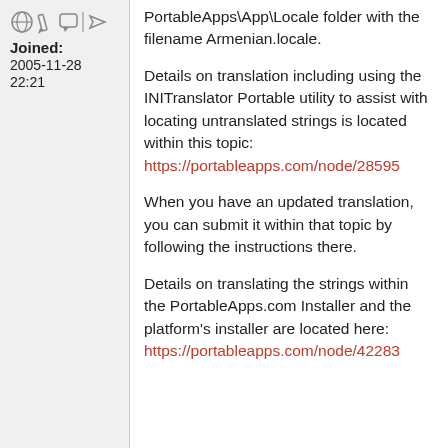[Figure (illustration): User icons/badges row (globe, edit, bubble, arrow-like icons)]
Joined: 2005-11-28 22:21
PortableApps\App\Locale folder with the filename Armenian.locale.
Details on translation including using the INITranslator Portable utility to assist with locating untranslated strings is located within this topic:
https://portableapps.com/node/28595
When you have an updated translation, you can submit it within that topic by following the instructions there.
Details on translating the strings within the PortableApps.com Installer and the platform's installer are located here:
https://portableapps.com/node/42283